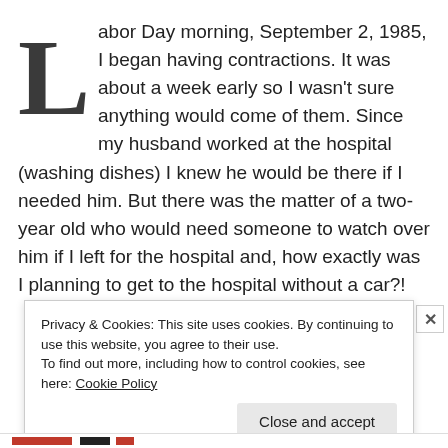Labor Day morning, September 2, 1985, I began having contractions. It was about a week early so I wasn't sure anything would come of them. Since my husband worked at the hospital (washing dishes) I knew he would be there if I needed him. But there was the matter of a two-year old who would need someone to watch over him if I left for the hospital and, how exactly was I planning to get to the hospital without a car?!
Privacy & Cookies: This site uses cookies. By continuing to use this website, you agree to their use. To find out more, including how to control cookies, see here: Cookie Policy
Close and accept